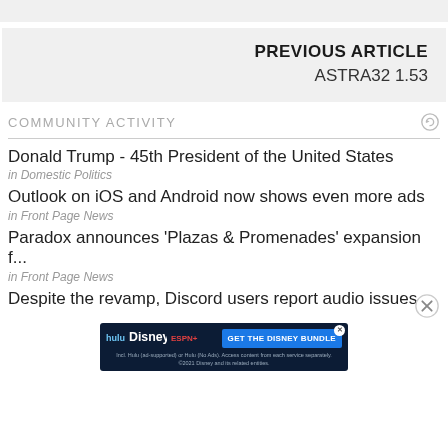PREVIOUS ARTICLE
ASTRA32 1.53
COMMUNITY ACTIVITY
Donald Trump - 45th President of the United States
in Domestic Politics
Outlook on iOS and Android now shows even more ads
in Front Page News
Paradox announces 'Plazas & Promenades' expansion f...
in Front Page News
Despite the revamp, Discord users report audio issues ...
[Figure (infographic): Disney Bundle advertisement with Hulu, Disney+, ESPN+ logos and GET THE DISNEY BUNDLE call to action]